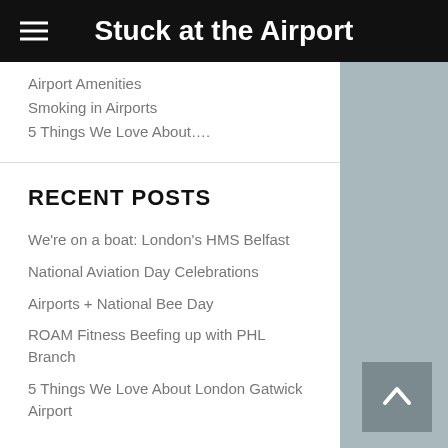Stuck at the Airport
Airport Amenities
Smoking in Airports
5 Things We Love About….
RECENT POSTS
We're on a boat: London's HMS Belfast
National Aviation Day Celebrations
Airports + National Bee Day
ROAM Fitness Beefing up with PHL Branch
5 Things We Love About London Gatwick Airport
OUR SPONSORS